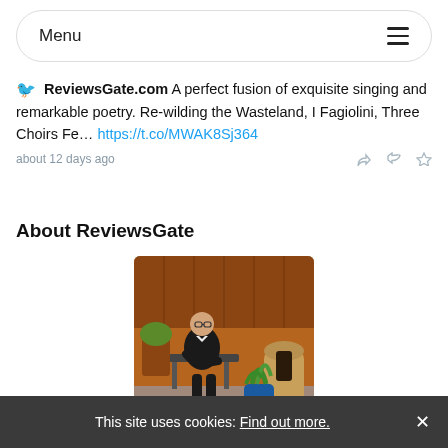Menu
ReviewsGate.com A perfect fusion of exquisite singing and remarkable poetry. Re-wilding the Wasteland, I Fagiolini, Three Choirs Fe... https://t.co/MWAK8Sj364
about 12 days ago
About ReviewsGate
[Figure (photo): A man sitting on a bench outdoors in a garden, wearing a dark jacket, with plants and a terracotta chiminea beside him, and a wooden fence in the background.]
ReviewsGate is one of the longest running Reviews websites; it
This site uses cookies: Find out more. ×